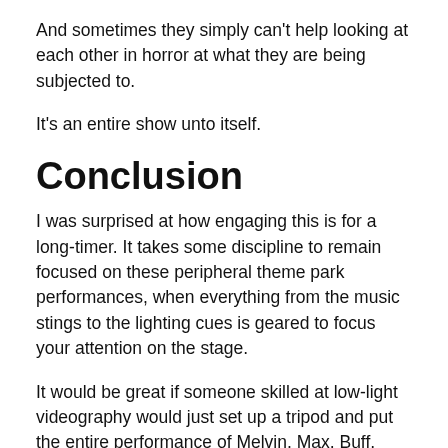And sometimes they simply can't help looking at each other in horror at what they are being subjected to.
It's an entire show unto itself.
Conclusion
I was surprised at how engaging this is for a long-timer. It takes some discipline to remain focused on these peripheral theme park performances, when everything from the music stings to the lighting cues is geared to focus your attention on the stage.
It would be great if someone skilled at low-light videography would just set up a tripod and put the entire performance of Melvin, Max, Buff,